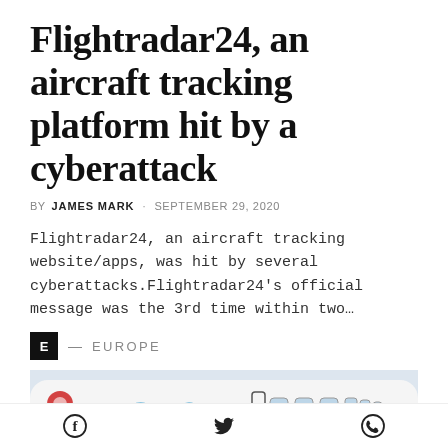Flightradar24, an aircraft tracking platform hit by a cyberattack
BY JAMES MARK · SEPTEMBER 29, 2020
Flightradar24, an aircraft tracking website/apps, was hit by several cyberattacks.Flightradar24’s official message was the 3rd time within two…
E — EUROPE
[Figure (photo): Partial view of an aircraft fuselage showing blue airline text and aircraft windows, white body with red and blue livery markings]
[Figure (infographic): Social media share icons: Facebook, Twitter, WhatsApp]